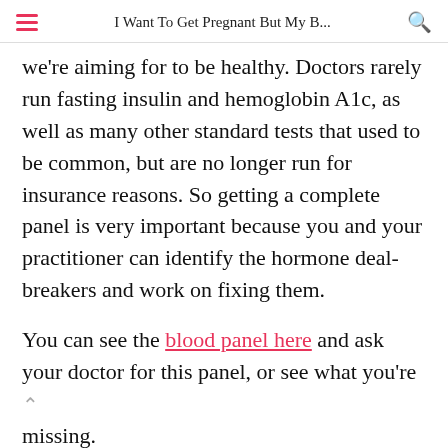I Want To Get Pregnant But My B...
we're aiming for to be healthy. Doctors rarely run fasting insulin and hemoglobin A1c, as well as many other standard tests that used to be common, but are no longer run for insurance reasons. So getting a complete panel is very important because you and your practitioner can identify the hormone deal-breakers and work on fixing them.
You can see the blood panel here and ask your doctor for this panel, or see what you're missing.